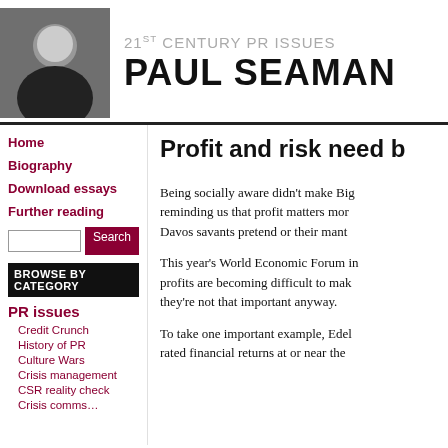21ST CENTURY PR ISSUES PAUL SEAMAN
Home
Biography
Download essays
Further reading
BROWSE BY CATEGORY
PR issues
Credit Crunch
History of PR
Culture Wars
Crisis management
CSR reality check
Profit and risk need b
Being socially aware didn't make Big reminding us that profit matters mor Davos savants pretend or their mant
This year's World Economic Forum in profits are becoming difficult to mak they're not that important anyway.
To take one important example, Edel rated financial returns at or near the